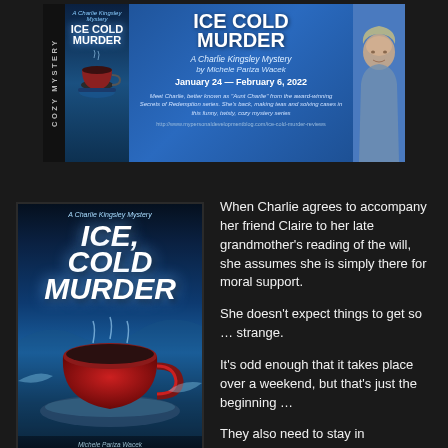[Figure (illustration): Banner advertisement for 'Ice Cold Murder: A Charlie Kingsley Mystery' by Michele Pariza Wacek, January 24 – February 6, 2022. Shows book cover on left, title text in center, author photo on right, on a blue gradient background.]
[Figure (illustration): Large book cover for 'Ice Cold Murder: A Charlie Kingsley Mystery' showing dark blue icy background with a steaming red tea cup, bold white title text.]
When Charlie agrees to accompany her friend Claire to her late grandmother's reading of the will, she assumes she is simply there for moral support.
She doesn't expect things to get so … strange.
It's odd enough that it takes place over a weekend, but that's just the beginning …
They also need to stay in